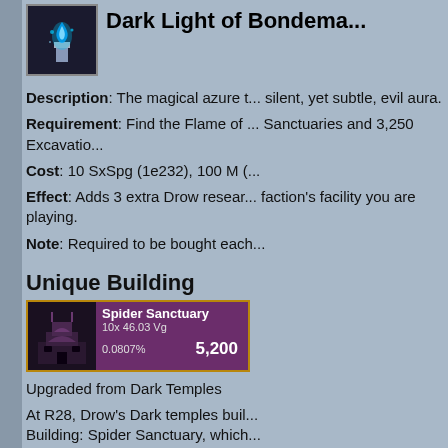Dark Light of Bondema...
Description: The magical azure t... silent, yet subtle, evil aura.
Requirement: Find the Flame of ... Sanctuaries and 3,250 Excavatio...
Cost: 10 SxSpg (1e232), 100 M (...
Effect: Adds 3 extra Drow resear... faction's facility you are playing.
Note: Required to be bought each...
Unique Building
[Figure (screenshot): Spider Sanctuary building card showing 10x 46.03 Vg, 0.0807%, 5,200]
Upgraded from Dark Temples
At R28, Drow's Dark temples buil... Building: Spider Sanctuary, which... research quests.
Ascension 2 - R116+